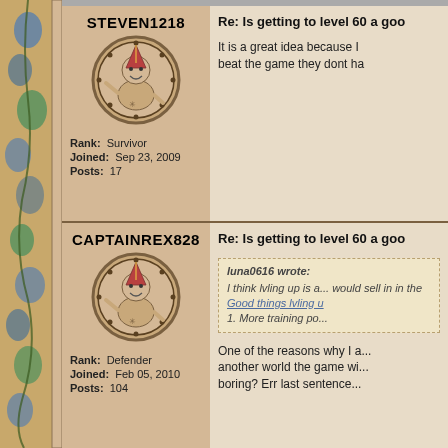STEVEN1218
[Figure (illustration): Circular avatar with cartoon character wearing a party hat]
Rank: Survivor
Joined: Sep 23, 2009
Posts: 17
Re: Is getting to level 60 a goo...
It is a great idea because I... beat the game they dont ha...
CAPTAINREX828
[Figure (illustration): Circular avatar with cartoon character wearing a party hat]
Rank: Defender
Joined: Feb 05, 2010
Posts: 104
Re: Is getting to level 60 a goo...
luna0616 wrote:
I think lvling up is a... would sell in in the...
Good things lvling u...
1. More training po...
One of the reasons why I a... another world the game wi... boring? Err last sentence...